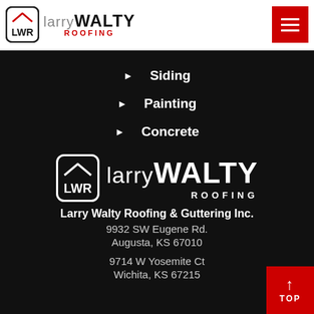[Figure (logo): Larry Walty Roofing logo in header — LWR badge with house roof icon and company name]
► Siding
► Painting
► Concrete
[Figure (logo): Larry Walty Roofing large white logo on black background]
Larry Walty Roofing & Guttering Inc.
9932 SW Eugene Rd.
Augusta, KS 67010
9714 W Yosemite Ct
Wichita, KS 67215